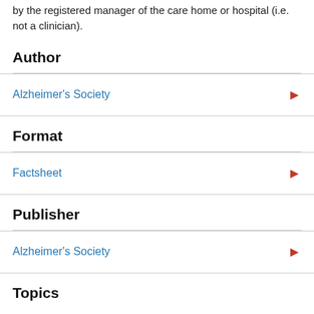by the registered manager of the care home or hospital (i.e. not a clinician).
Author
Alzheimer's Society
Format
Factsheet
Publisher
Alzheimer's Society
Topics